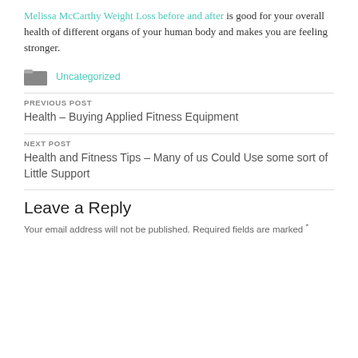Melissa McCarthy Weight Loss before and after is good for your overall health of different organs of your human body and makes you are feeling stronger.
Uncategorized
PREVIOUS POST
Health – Buying Applied Fitness Equipment
NEXT POST
Health and Fitness Tips – Many of us Could Use some sort of Little Support
Leave a Reply
Your email address will not be published. Required fields are marked *